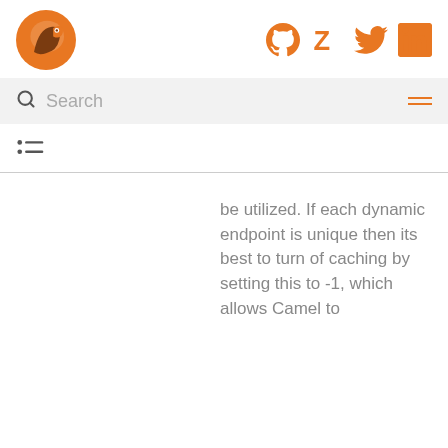Logo and social icons (GitHub, Zulip, Twitter, LinkedIn)
Search
[Figure (other): List/TOC icon with two horizontal lines and bullet dots on the left]
be utilized. If each dynamic endpoint is unique then its best to turn of caching by setting this to -1, which allows Camel to